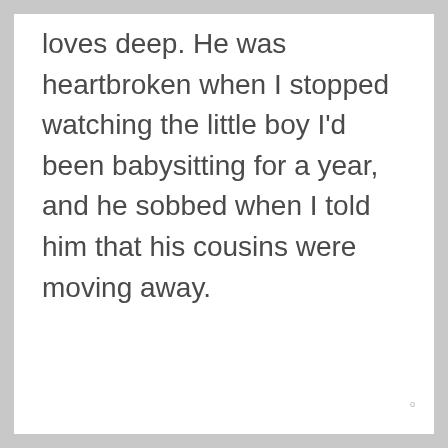loves deep. He was heartbroken when I stopped watching the little boy I'd been babysitting for a year, and he sobbed when I told him that his cousins were moving away.